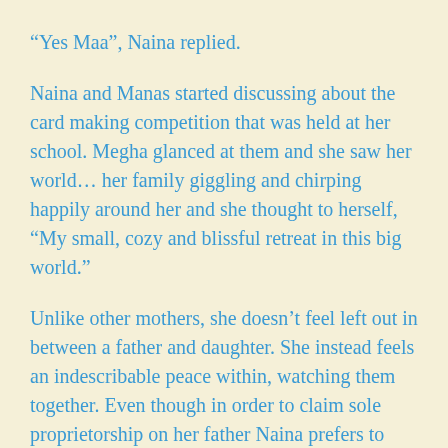“Yes Maa”, Naina replied.
Naina and Manas started discussing about the card making competition that was held at her school. Megha glanced at them and she saw her world… her family giggling and chirping happily around her and she thought to herself, “My small, cozy and blissful retreat in this big world.”
Unlike other mothers, she doesn’t feel left out in between a father and daughter. She instead feels an indescribable peace within, watching them together. Even though in order to claim sole proprietorship on her father Naina prefers to throw her mother out of the equation, but thanks to Manas, he never forgets to include Megha back in their merrymaking and also reminds Naina that her mother is part of the team.